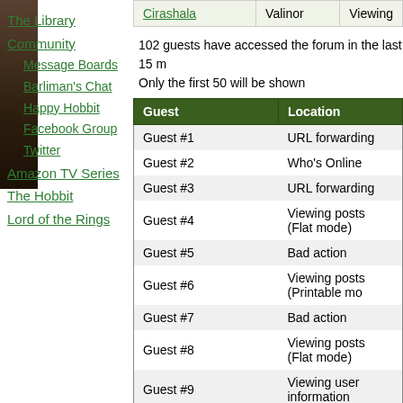[Figure (photo): Dark animal photo on left navigation sidebar]
The Library
Community
Message Boards
Barliman's Chat
Happy Hobbit
Facebook Group
Twitter
Amazon TV Series
The Hobbit
Lord of the Rings
| Cirashala | Valinor | Viewing |
| --- | --- | --- |
102 guests have accessed the forum in the last 15 m
Only the first 50 will be shown
| Guest | Location |
| --- | --- |
| Guest #1 | URL forwarding |
| Guest #2 | Who's Online |
| Guest #3 | URL forwarding |
| Guest #4 | Viewing posts (Flat mode) |
| Guest #5 | Bad action |
| Guest #6 | Viewing posts (Printable mo |
| Guest #7 | Bad action |
| Guest #8 | Viewing posts (Flat mode) |
| Guest #9 | Viewing user information |
| Guest #10 | Viewing posts (Flat mode) |
| Guest #11 | Who's Online |
| Guest #12 | Viewing posts (Flat mode) |
| Guest #13 | URL forwarding |